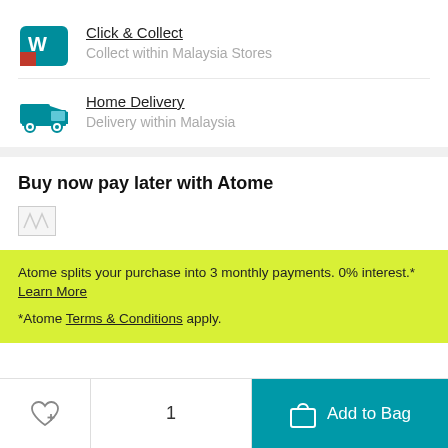Click & Collect – Collect within Malaysia Stores
Home Delivery – Delivery within Malaysia
Buy now pay later with Atome
[Figure (logo): Atome logo placeholder (broken image)]
Atome splits your purchase into 3 monthly payments. 0% interest.* Learn More
*Atome Terms & Conditions apply.
1  Add to Bag